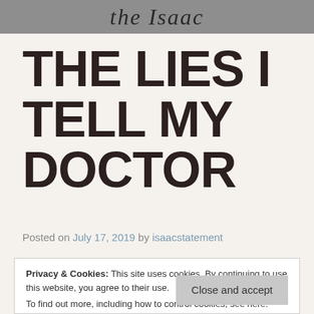the Isaac
THE LIES I TELL MY DOCTOR
Posted on July 17, 2019 by isaacstatement
Privacy & Cookies: This site uses cookies. By continuing to use this website, you agree to their use.
To find out more, including how to control cookies, see here: Cookie Policy
Close and accept
the first person that I had ever been somewhat honest about it to, and so...